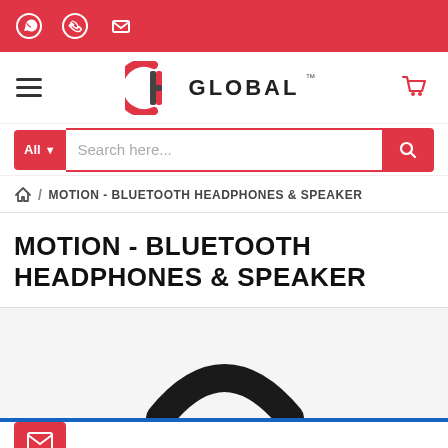MH Global - Contact icons header
[Figure (logo): MH Global logo with hamburger menu and cart icon]
Search here...
🏠 / MOTION - BLUETOOTH HEADPHONES & SPEAKER
MOTION - BLUETOOTH HEADPHONES & SPEAKER
[Figure (photo): Partial view of bluetooth headphones - top arc visible at bottom of page]